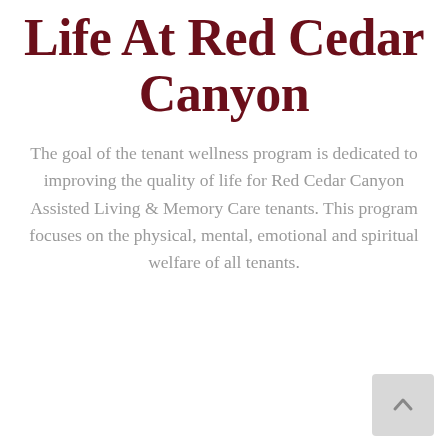Life At Red Cedar Canyon
The goal of the tenant wellness program is dedicated to improving the quality of life for Red Cedar Canyon Assisted Living & Memory Care tenants. This program focuses on the physical, mental, emotional and spiritual welfare of all tenants.